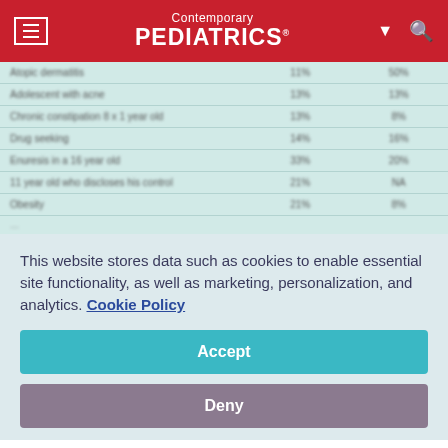Contemporary PEDIATRICS
|  |  |  |
| --- | --- | --- |
| Atopic dermatitis | 11% | 50% |
| Adolescent with acne | 13% | 13% |
| Chronic constipation 8 x 1 year old | 13% | 8% |
| Drug seeking | 14% | 16% |
| Enuresis in a 16 year old | 33% | 20% |
| 11 year old who discloses his control | 21% | NA |
| Obesity | 21% | 8% |
This website stores data such as cookies to enable essential site functionality, as well as marketing, personalization, and analytics. Cookie Policy
Accept
Deny